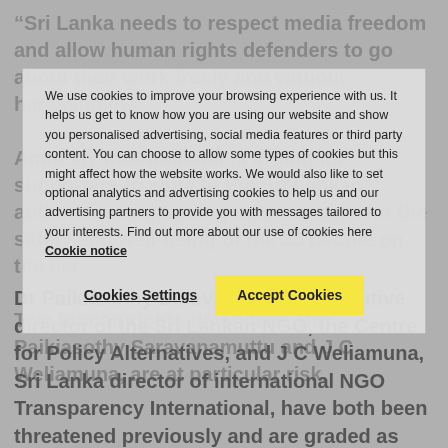“Sri Lanka needs to respect media freedom and allow human rights defenders to go about their work freely and without harassment.”
Amnesty International is urging its supporters to write to the Sri Lankan authorities expressing their concern for the safety and well-being of the 35 people on the list.
Two human rights defenders, Dr Paikiasothy Saravanamuttu and J C Weliamuna, are at particular risk.
We use cookies to improve your browsing experience with us. It helps us get to know how you are using our website and show you personalised advertising, social media features or third party content. You can choose to allow some types of cookies but this might affect how the website works. We would also like to set optional analytics and advertising cookies to help us and our advertising partners to provide you with messages tailored to your interests. Find out more about our use of cookies here Cookie notice
Cookies Settings
Accept Cookies
Dr Paikiasothy Saravanamuttu, executive director of the Sri Lankan NGO, the Centre for Policy Alternatives, and J C Weliamuna, Sri Lanka director of international NGO Transparency International, have both been threatened previously and are graded as being of great interest to the intelligence services on the list. Other colleagues from their organisations are also named.
Background